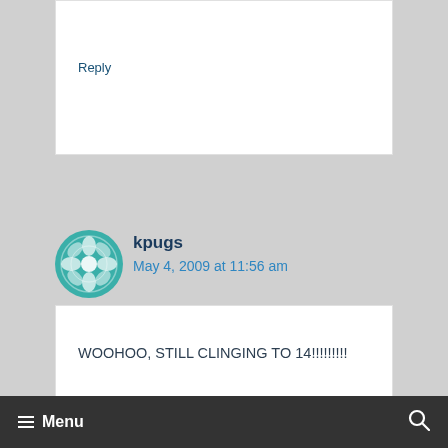Reply
kpugs
May 4, 2009 at 11:56 am
WOOHOO, STILL CLINGING TO 14!!!!!!!!!
Reply
Menu